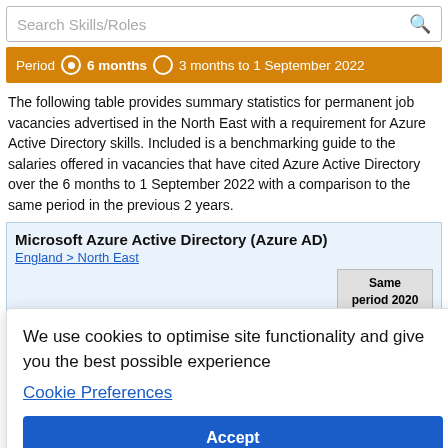Search Skills/Roles
Period  6 months  3 months to 1 September 2022
The following table provides summary statistics for permanent job vacancies advertised in the North East with a requirement for Azure Active Directory skills. Included is a benchmarking guide to the salaries offered in vacancies that have cited Azure Active Directory over the 6 months to 1 September 2022 with a comparison to the same period in the previous 2 years.
Microsoft Azure Active Directory (Azure AD)
England > North East
| Same period 2020 |
| --- |
| 68 |
| +11 |
| 7 |
We use cookies to optimise site functionality and give you the best possible experience
Cookie Preferences
Accept
As % of all permanent jobs